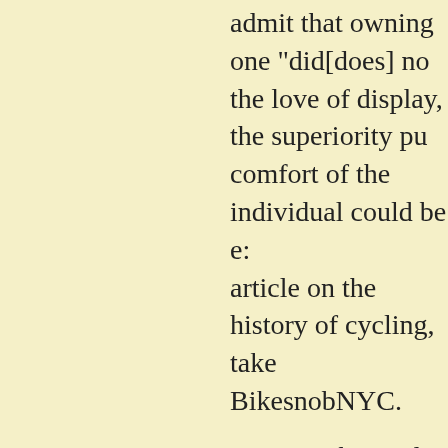admit that owning one "did[does] no the love of display, the superiority pu comfort of the individual could be e article on the history of cycling, take BikesnobNYC.
Leica is obviously (today) a very suc record profits and paying out dividen truly beautiful pieces of design. How photography as an art form. Thank g provided us with the X100.
Posted by: Mark Sperry | Monday, 13 June 2011 at 10
Making any comment about Leica is Firstly let me state I am a long term 50 years ago the M2 and M3 frames ultra bright DSLRs, X100, PEN EV There has been much written far mo against but I could like to make